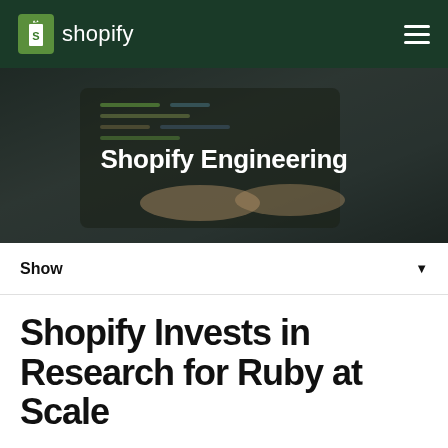shopify
[Figure (photo): Dark hero banner with a person typing on a laptop, showing code on screen, overlaid with the text 'Shopify Engineering']
Shopify Engineering
Show
Shopify Invests in Research for Ruby at Scale